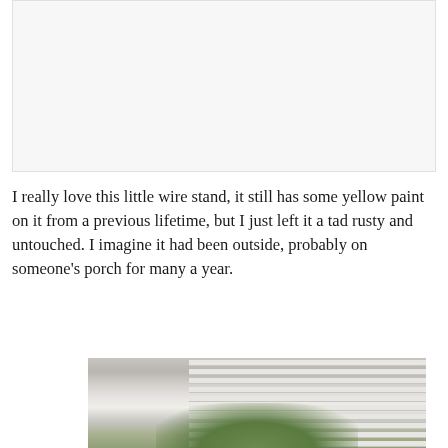[Figure (photo): A photo (upper portion) showing a light-colored interior scene, appears mostly white/light gray — partially visible at top of page.]
I really love this little wire stand, it still has some yellow paint on it from a previous lifetime, but I just left it a tad rusty and untouched. I imagine it had been outside, probably on someone's porch for many a year.
[Figure (photo): A photo of a plant with green leaves near a window with white horizontal blinds, partially visible at bottom of page.]